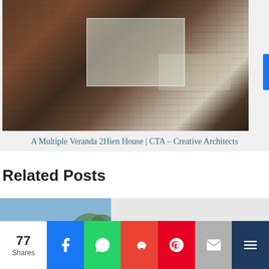[Figure (photo): Interior photo of a brick building with corridor, courtyard opening, and dining area with table and chair visible through opening]
A Multiple Veranda 2Hien House | CTA – Creative Architects
Related Posts
[Figure (photo): Exterior photo of a modern courtyard house with brick and concrete, surrounded by greenery and blue sky]
A Courtyard House Enhancing An Archetypal Indian Style Of Space | Modo Designs
[Figure (photo): Partial view of another related post photo at bottom]
77 Shares | Facebook | WhatsApp | Google+ | Pinterest | Email | More